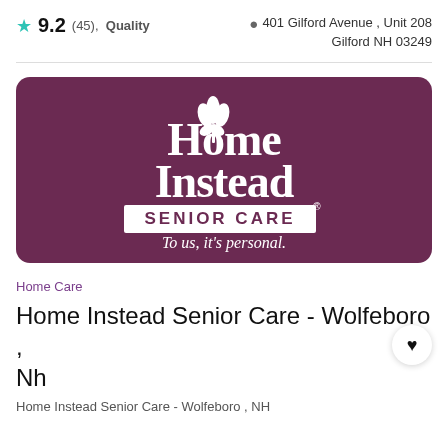9.2 (45), Quality   401 Gilford Avenue , Unit 208 Gilford NH 03249
[Figure (logo): Home Instead Senior Care logo on purple/maroon rounded rectangle background. White text reads 'Home Instead SENIOR CARE® To us, it's personal.']
Home Care
Home Instead Senior Care - Wolfeboro , Nh
Home Instead Senior Care - Wolfeboro , NH